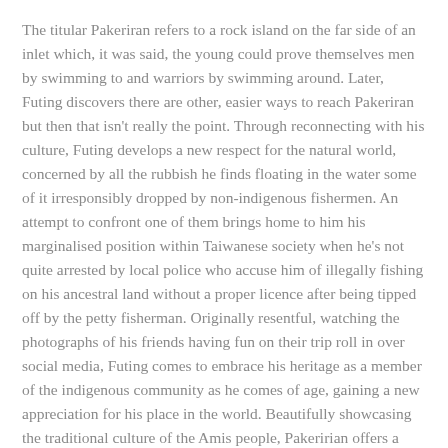The titular Pakeriran refers to a rock island on the far side of an inlet which, it was said, the young could prove themselves men by swimming to and warriors by swimming around. Later, Futing discovers there are other, easier ways to reach Pakeriran but then that isn't really the point. Through reconnecting with his culture, Futing develops a new respect for the natural world, concerned by all the rubbish he finds floating in the water some of it irresponsibly dropped by non-indigenous fishermen. An attempt to confront one of them brings home to him his marginalised position within Taiwanese society when he's not quite arrested by local police who accuse him of illegally fishing on his ancestral land without a proper licence after being tipped off by the petty fisherman. Originally resentful, watching the photographs of his friends having fun on their trip roll in over social media, Futing comes to embrace his heritage as a member of the indigenous community as he comes of age, gaining a new appreciation for his place in the world. Beautifully showcasing the traditional culture of the Amis people, Pakeririan offers a rare insight into an all too often hidden side of